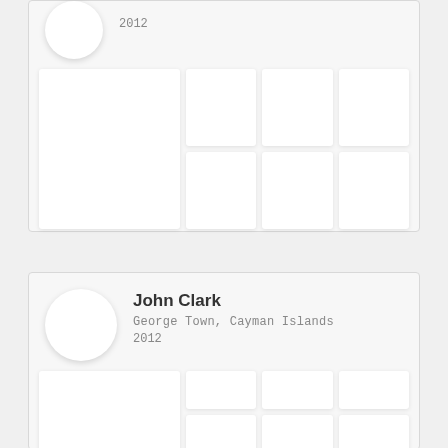[Figure (screenshot): Partial profile card at top of page showing year 2012 and a grid of image placeholders arranged in 2 rows and 4 columns with the first column spanning both rows.]
[Figure (screenshot): Profile card for John Clark, George Town, Cayman Islands, 2012, with a circular avatar placeholder and a grid of image placeholders below arranged in 2 rows and 4 columns.]